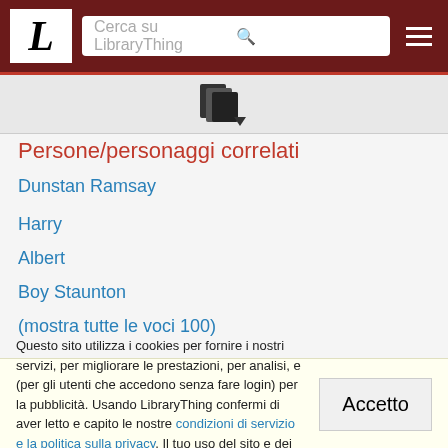L — Cerca su LibraryThing
[Figure (logo): LibraryThing document/books icon with dropdown arrow]
Persone/personaggi correlati
Dunstan Ramsay
Harry
Albert
Boy Staunton
(mostra tutte le voci 100)
Questo sito utilizza i cookies per fornire i nostri servizi, per migliorare le prestazioni, per analisi, e (per gli utenti che accedono senza fare login) per la pubblicità. Usando LibraryThing confermi di aver letto e capito le nostre condizioni di servizio e la politica sulla privacy. Il tuo uso del sito e dei servizi è soggetto a tali politiche e condizioni.